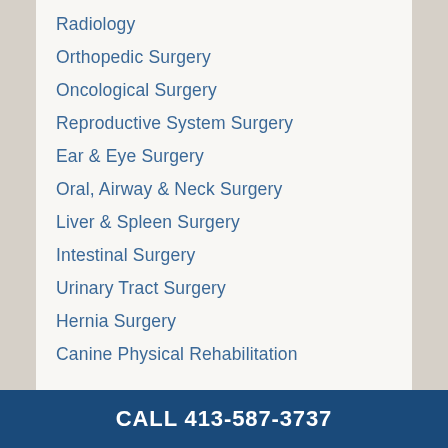Radiology
Orthopedic Surgery
Oncological Surgery
Reproductive System Surgery
Ear & Eye Surgery
Oral, Airway & Neck Surgery
Liver & Spleen Surgery
Intestinal Surgery
Urinary Tract Surgery
Hernia Surgery
Canine Physical Rehabilitation
CALL 413-587-3737